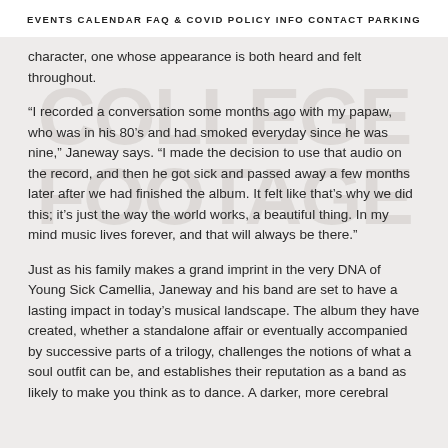EVENTS  CALENDAR  FAQ & COVID POLICY  INFO  CONTACT  PARKING
character, one whose appearance is both heard and felt throughout.
“I recorded a conversation some months ago with my papaw, who was in his 80’s and had smoked everyday since he was nine,” Janeway says. “I made the decision to use that audio on the record, and then he got sick and passed away a few months later after we had finished the album. It felt like that’s why we did this; it’s just the way the world works, a beautiful thing. In my mind music lives forever, and that will always be there.”
Just as his family makes a grand imprint in the very DNA of Young Sick Camellia, Janeway and his band are set to have a lasting impact in today’s musical landscape. The album they have created, whether a standalone affair or eventually accompanied by successive parts of a trilogy, challenges the notions of what a soul outfit can be, and establishes their reputation as a band as likely to make you think as to dance. A darker, more cerebral